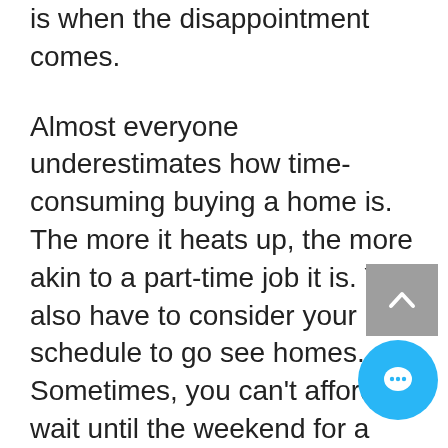is when the disappointment comes.
Almost everyone underestimates how time-consuming buying a home is. The more it heats up, the more akin to a part-time job it is. You also have to consider your schedule to go see homes. Sometimes, you can't afford to wait until the weekend for a popular listing. On weekdays, going when you get off work at 5:30 might also not sit well with sellers. And if your Realtor® isn't around to show you homes when you want to, you should consider finding a more flexible one. Being the first offer is oftentimes the difference between winning and losing tiebreakers.